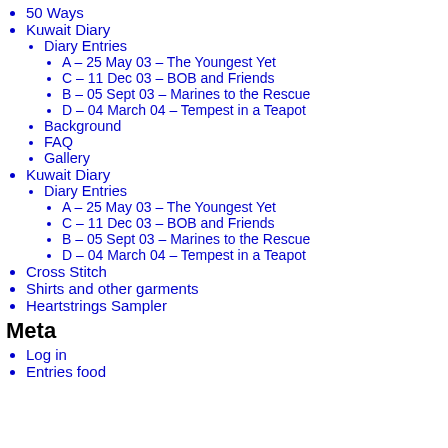50 Ways
Kuwait Diary
Diary Entries
A – 25 May 03 – The Youngest Yet
C – 11 Dec 03 – BOB and Friends
B – 05 Sept 03 – Marines to the Rescue
D – 04 March 04 – Tempest in a Teapot
Background
FAQ
Gallery
Kuwait Diary
Diary Entries
A – 25 May 03 – The Youngest Yet
C – 11 Dec 03 – BOB and Friends
B – 05 Sept 03 – Marines to the Rescue
D – 04 March 04 – Tempest in a Teapot
Cross Stitch
Shirts and other garments
Heartstrings Sampler
Meta
Log in
Entries food